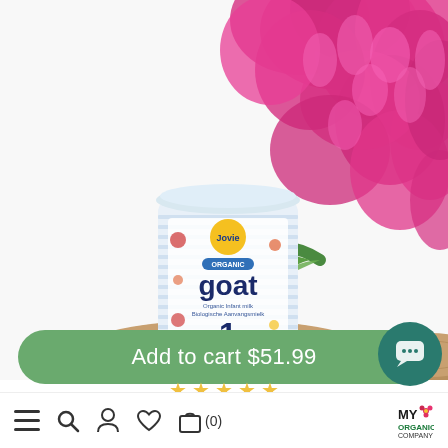[Figure (photo): Product photo of Jovie Organic Goat milk formula Stage 1 tin, placed on a wooden surface with pink flowers (gladiolus) in a white pot in the background]
Add to cart $51.99
[Figure (other): Five yellow star rating icons]
[Figure (other): Bottom navigation bar with hamburger menu, search, person/account, heart/wishlist, shopping bag with (0) count, and My Organic Company logo]